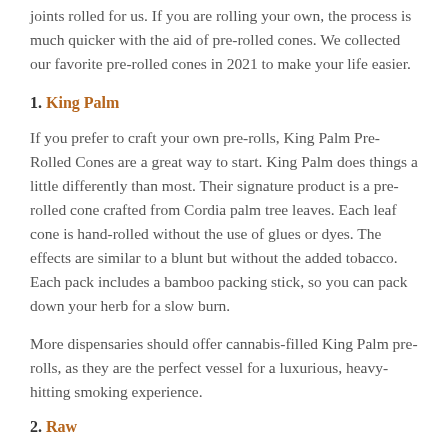joints rolled for us. If you are rolling your own, the process is much quicker with the aid of pre-rolled cones. We collected our favorite pre-rolled cones in 2021 to make your life easier.
1. King Palm
If you prefer to craft your own pre-rolls, King Palm Pre-Rolled Cones are a great way to start. King Palm does things a little differently than most. Their signature product is a pre-rolled cone crafted from Cordia palm tree leaves. Each leaf cone is hand-rolled without the use of glues or dyes. The effects are similar to a blunt but without the added tobacco. Each pack includes a bamboo packing stick, so you can pack down your herb for a slow burn.
More dispensaries should offer cannabis-filled King Palm pre-rolls, as they are the perfect vessel for a luxurious, heavy-hitting smoking experience.
2. Raw
Most of the pre-rolls that you find at dispensaries are wrapped in Raw papers. They are the standard in the hemp-based rolling paper world and loved by smokers worldwide. Their standard